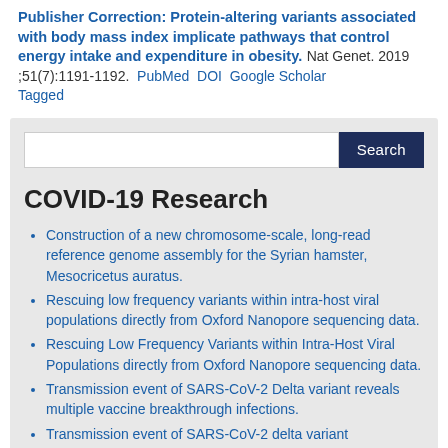Publisher Correction: Protein-altering variants associated with body mass index implicate pathways that control energy intake and expenditure in obesity. Nat Genet. 2019 ;51(7):1191-1192. PubMed DOI Google Scholar Tagged
[Figure (screenshot): Search box with dark navy Search button on gray background]
COVID-19 Research
Construction of a new chromosome-scale, long-read reference genome assembly for the Syrian hamster, Mesocricetus auratus.
Rescuing low frequency variants within intra-host viral populations directly from Oxford Nanopore sequencing data.
Rescuing Low Frequency Variants within Intra-Host Viral Populations directly from Oxford Nanopore sequencing data.
Transmission event of SARS-CoV-2 Delta variant reveals multiple vaccine breakthrough infections.
Transmission event of SARS-CoV-2 delta variant ...